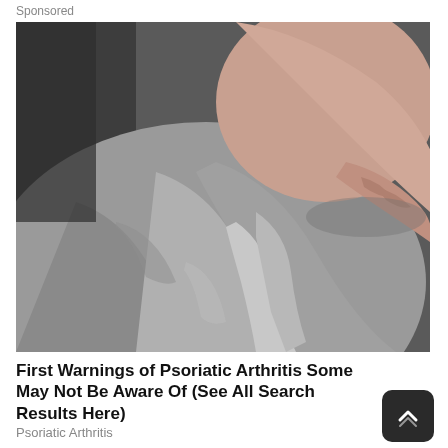Sponsored
[Figure (photo): Close-up photo of a person scratching or holding their knee through grey fabric clothing, suggesting joint pain or skin irritation related to psoriatic arthritis. Background is dark/grey blurred.]
First Warnings of Psoriatic Arthritis Some May Not Be Aware Of (See All Search Results Here)
Psoriatic Arthritis